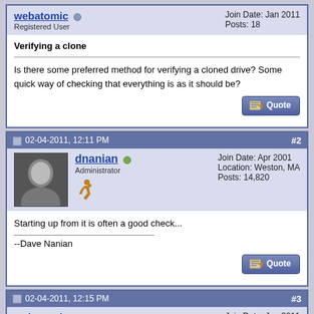webatomic — Registered User | Join Date: Jan 2011 | Posts: 18
Verifying a clone
Is there some preferred method for verifying a cloned drive? Some quick way of checking that everything is as it should be?
02-04-2011, 12:11 PM  #2
dnanian — Administrator | Join Date: Apr 2001 | Location: Weston, MA | Posts: 14,820
Starting up from it is often a good check...
--Dave Nanian
02-04-2011, 12:15 PM  #3
webatomic — Registered User | Join Date: Jan 2011 | Posts: 18
Quote: